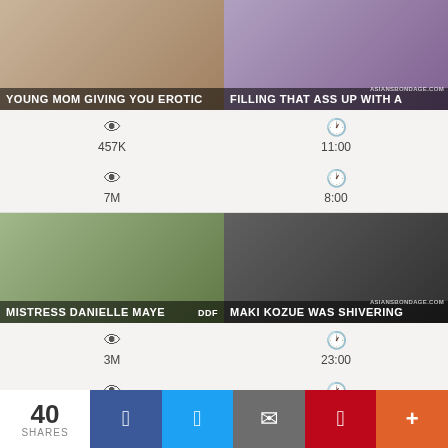[Figure (screenshot): Video thumbnail 1 - top left]
YOUNG MOM GIVING YOU EROTIC
[Figure (screenshot): Video thumbnail 2 - top right]
FILLING THAT ASS UP WITH A
457K views, 11:00 duration
7M views, 8:00 duration
[Figure (screenshot): Video thumbnail 3 - middle left, MISTRESS DANIELLE MAYE]
MISTRESS DANIELLE MAYE
[Figure (screenshot): Video thumbnail 4 - middle right, MAKI KOZUE WAS SHIVERING]
MAKI KOZUE WAS SHIVERING
3M views, 23:00 duration
24K views, 5:00 duration
[Figure (screenshot): Video thumbnail 5 - bottom left]
[Figure (screenshot): Video thumbnail 6 - bottom right]
40 SHARES | Facebook | Twitter | Email | Pinterest | More